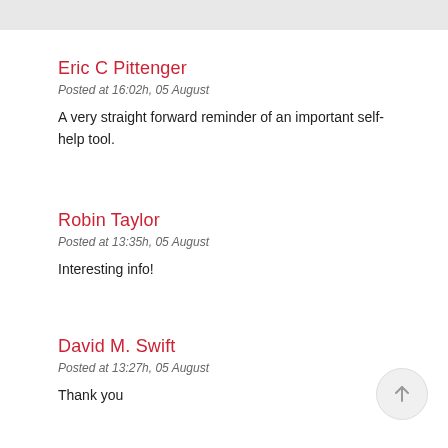Eric C Pittenger
Posted at 16:02h, 05 August
A very straight forward reminder of an important self-help tool.
Robin Taylor
Posted at 13:35h, 05 August
Interesting info!
David M. Swift
Posted at 13:27h, 05 August
Thank you